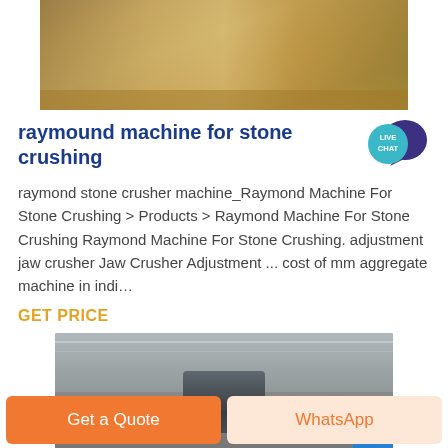[Figure (photo): Top portion of an outdoor stone crushing site with sandy/rocky terrain visible]
raymound machine for stone crushing
[Figure (illustration): Live Chat speech bubble badge icon in teal/purple]
raymond stone crusher machine_Raymond Machine For Stone Crushing > Products > Raymond Machine For Stone Crushing Raymond Machine For Stone Crushing. adjustment jaw crusher Jaw Crusher Adjustment ... cost of mm aggregate machine in indi…
GET PRICE
[Figure (photo): Industrial machinery (large crusher/mill) in a factory/exhibition hall with blue banners in the background]
Get a Quote
WhatsApp